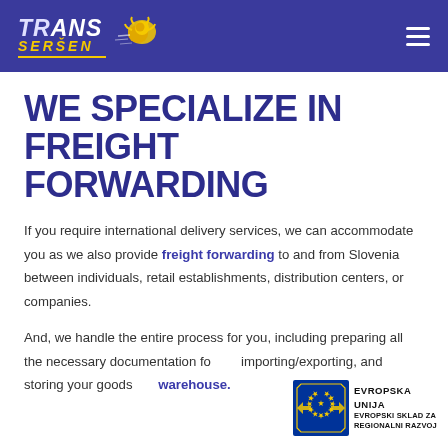TRANS SERSEN [logo with lion]
WE SPECIALIZE IN FREIGHT FORWARDING
If you require international delivery services, we can accommodate you as we also provide freight forwarding to and from Slovenia between individuals, retail establishments, distribution centers, or companies.
And, we handle the entire process for you, including preparing all the necessary documentation for importing/exporting, and storing your goods in our warehouse.
[Figure (logo): Evropska unija - Evropski sklad za regionalni razvoj EU logo badge]